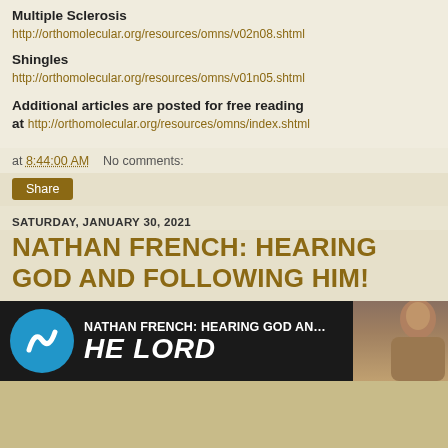Multiple Sclerosis
http://orthomolecular.org/resources/omns/v02n08.shtml
Shingles
http://orthomolecular.org/resources/omns/v01n05.shtml
Additional articles are posted for free reading at http://orthomolecular.org/resources/omns/index.shtml
at 8:44:00 AM   No comments:
Share
SATURDAY, JANUARY 30, 2021
NATHAN FRENCH: HEARING GOD AND FOLLOWING HIM!
[Figure (screenshot): Video thumbnail showing 'NATHAN FRENCH: HEARING GOD AND FO...' with a blue circular logo with white S-curve arrow, text 'HE LORD' in large white letters on dark background, and a partial photo of a man on the right side.]